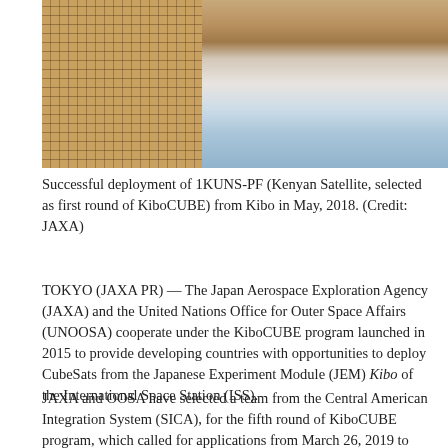[Figure (photo): Photograph showing a satellite solar panel array on the left (brown/orange grid texture) and Earth's surface with clouds and blue atmosphere visible below, taken from the International Space Station.]
Successful deployment of 1KUNS-PF (Kenyan Satellite, selected as first round of KiboCUBE) from Kibo in May, 2018. (Credit: JAXA)
TOKYO (JAXA PR) — The Japan Aerospace Exploration Agency (JAXA) and the United Nations Office for Outer Space Affairs (UNOOSA) cooperate under the KiboCUBE program launched in 2015 to provide developing countries with opportunities to deploy CubeSats from the Japanese Experiment Module (JEM) Kibo of the International Space Station (ISS).
JAXA and OOSA have selected a team from the Central American Integration System (SICA), for the fifth round of KiboCUBE program, which called for applications from March 26, 2019 to September 30, 2019. It is the first time to select international organization in this